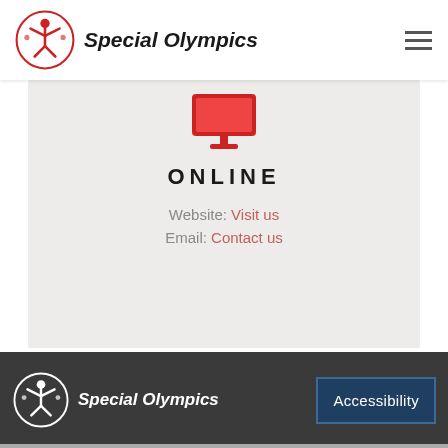Special Olympics
[Figure (illustration): Red monitor/computer icon]
ONLINE
Website: Visit us
Email: Contact us
Special Olympics — Accessibility button